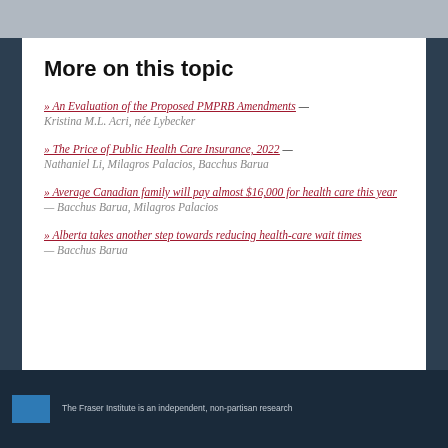More on this topic
» An Evaluation of the Proposed PMPRB Amendments — Kristina M.L. Acri, née Lybecker
» The Price of Public Health Care Insurance, 2022 — Nathaniel Li, Milagros Palacios, Bacchus Barua
» Average Canadian family will pay almost $16,000 for health care this year — Bacchus Barua, Milagros Palacios
» Alberta takes another step towards reducing health-care wait times — Bacchus Barua
The Fraser Institute is an independent, non-partisan research